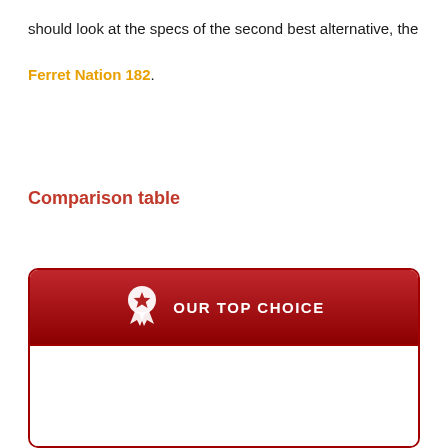should look at the specs of the second best alternative, the Ferret Nation 182.
Comparison table
[Figure (infographic): A card with a dark red header containing an award/ribbon icon and the text 'OUR TOP CHOICE' in white capital letters, with a white body area below bordered in dark red.]